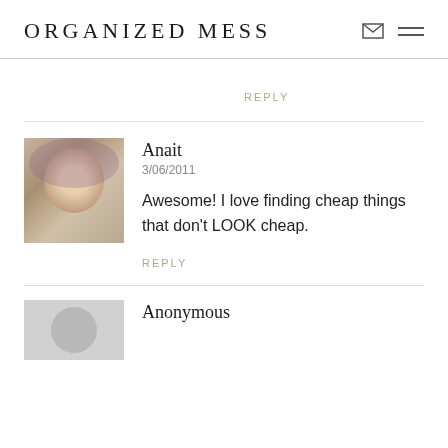ORGANIZED MESS
REPLY
Anait
3/06/2011
Awesome! I love finding cheap things that don't LOOK cheap.
REPLY
Anonymous